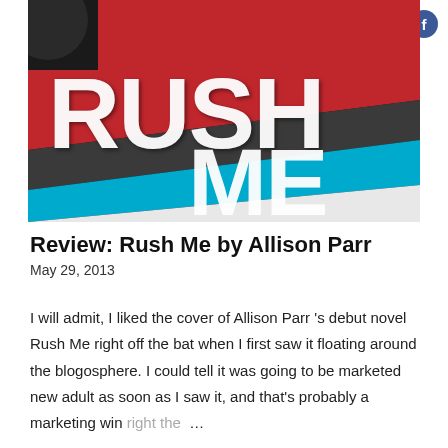[Figure (photo): Book cover of 'Rush Me' by Allison Parr — bold white letters on diagonal red, dark gray, and cyan/blue stripes]
Review: Rush Me by Allison Parr
May 29, 2013
I will admit, I liked the cover of Allison Parr 's debut novel Rush Me right off the bat when I first saw it floating around the blogosphere. I could tell it was going to be marketed new adult as soon as I saw it, and that's probably a marketing win right the …